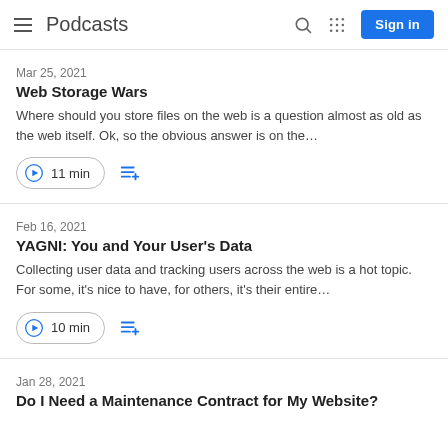Podcasts
Mar 25, 2021
Web Storage Wars
Where should you store files on the web is a question almost as old as the web itself. Ok, so the obvious answer is on the…
11 min
Feb 16, 2021
YAGNI: You and Your User's Data
Collecting user data and tracking users across the web is a hot topic. For some, it's nice to have, for others, it's their entire…
10 min
Jan 28, 2021
Do I Need a Maintenance Contract for My Website?